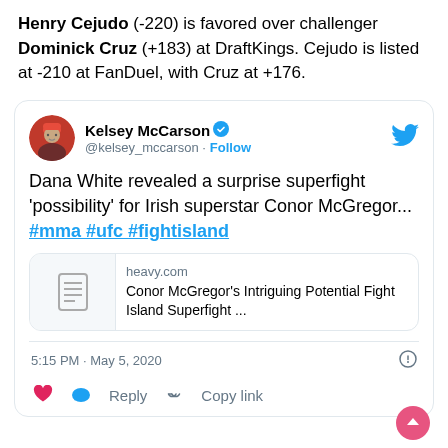Henry Cejudo (-220) is favored over challenger Dominick Cruz (+183) at DraftKings. Cejudo is listed at -210 at FanDuel, with Cruz at +176.
[Figure (screenshot): Embedded tweet from @kelsey_McCarson showing tweet about Dana White revealing a surprise superfight possibility for Conor McGregor, with hashtags #mma #ufc #fightisland, a link preview to heavy.com article, timestamp 5:15 PM · May 5, 2020, and reply/copy link actions.]